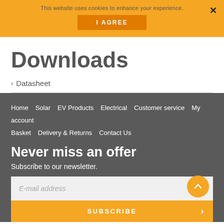This website uses cookies to enhance your experience.
I AGREE
×
Downloads
› Datasheet
Home  Solar  EV Products  Electrical  Customer service  My account  Basket  Delivery & Returns  Contact Us
Never miss an offer
Subscribe to our newsletter.
E-mail address
SUBSCRIBE